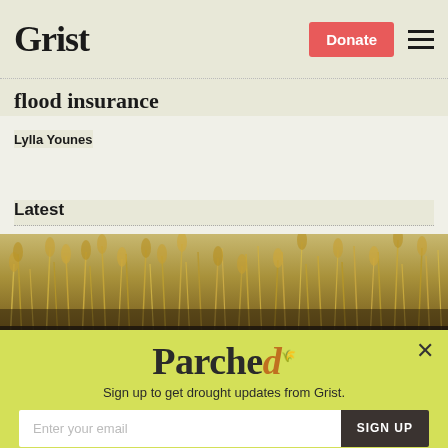Grist | Donate
flood insurance
Lylla Younes
Latest
[Figure (photo): Close-up photo of dried wheat or grain field stalks, golden-brown in color]
[Figure (infographic): Modal popup overlay with yellow-green background. Title: 'Parched' with drought-themed styling. Subtitle: 'Sign up to get drought updates from Grist.' Email input field with 'Enter your email' placeholder and a dark 'SIGN UP' button. Below: 'No thanks' link with underline.]